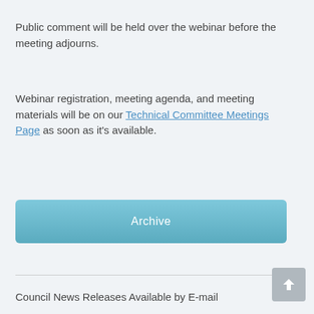Public comment will be held over the webinar before the meeting adjourns.
Webinar registration, meeting agenda, and meeting materials will be on our Technical Committee Meetings Page as soon as it's available.
Archive
Council News Releases Available by E-mail